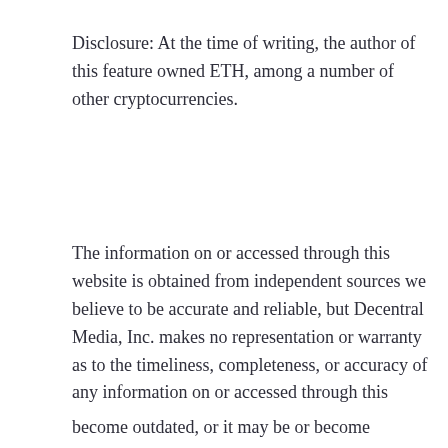Disclosure: At the time of writing, the author of this feature owned ETH, among a number of other cryptocurrencies.
The information on or accessed through this website is obtained from independent sources we believe to be accurate and reliable, but Decentral Media, Inc. makes no representation or warranty as to the timeliness, completeness, or accuracy of any information on or accessed through this
[Figure (infographic): Promotional popup for Revain review platform with logo, heading 'Get Awesome Reviews', description about coins, exchanges, wallets, crypto games, crypto cards, and a 'GO TO REVAIN' button.]
become outdated, or it may be or become